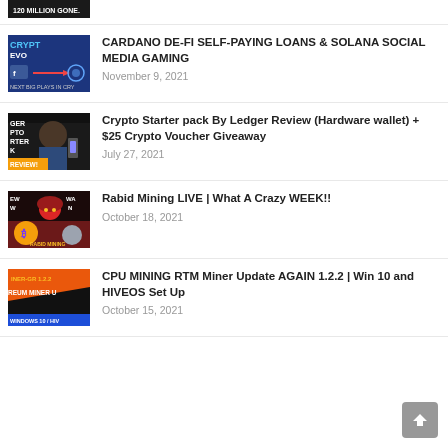[Figure (screenshot): Partial thumbnail at top — dark image with text '120 MILLION GONE.']
[Figure (screenshot): Thumbnail showing crypto/blockchain graphic with text 'CRYPTO EVO' and 'NEXT BIG PLAYS IN CRY']
CARDANO DE-FI SELF-PAYING LOANS & SOLANA SOCIAL MEDIA GAMING
November 9, 2021
[Figure (screenshot): Thumbnail showing a bearded man with crypto hardware wallet equipment and text 'GER PTO RTER K REVIEW!']
Crypto Starter pack By Ledger Review (Hardware wallet) + $25 Crypto Voucher Giveaway
July 27, 2021
[Figure (screenshot): Thumbnail with crypto mining graphic — Bitcoin coin, character with helmet, text 'RABID MINING', 'EW W', 'WA N']
Rabid Mining LIVE | What A Crazy WEEK!!
October 18, 2021
[Figure (screenshot): Thumbnail showing orange background with text 'INER-GR 1.2.2', 'REUM MINER U', 'WINDOWS 10 / HIV']
CPU MINING RTM Miner Update AGAIN 1.2.2 | Win 10 and HIVEOS Set Up
October 15, 2021